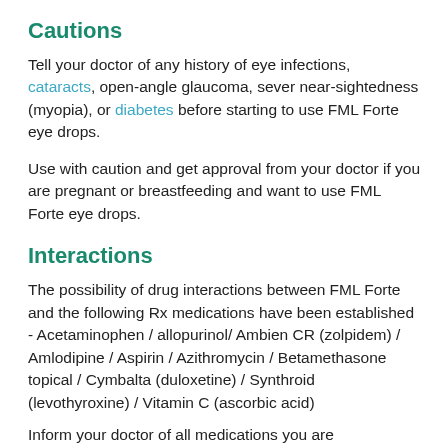Cautions
Tell your doctor of any history of eye infections, cataracts, open-angle glaucoma, sever near-sightedness (myopia), or diabetes before starting to use FML Forte eye drops.
Use with caution and get approval from your doctor if you are pregnant or breastfeeding and want to use FML Forte eye drops.
Interactions
The possibility of drug interactions between FML Forte and the following Rx medications have been established - Acetaminophen / allopurinol/ Ambien CR (zolpidem) / Amlodipine / Aspirin / Azithromycin / Betamethasone topical / Cymbalta (duloxetine) / Synthroid (levothyroxine) / Vitamin C (ascorbic acid)
Inform your doctor of all medications you are